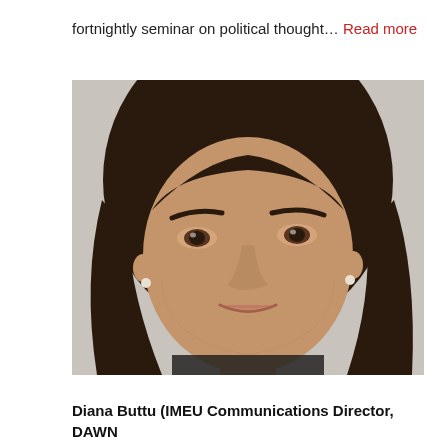fortnightly seminar on political thought... Read more
[Figure (photo): Headshot portrait of a woman with dark shoulder-length hair, wearing small pearl stud earrings, photographed against a light grey background, looking directly at the camera with a slight smile.]
Diana Buttu (IMEU Communications Director, DAWN